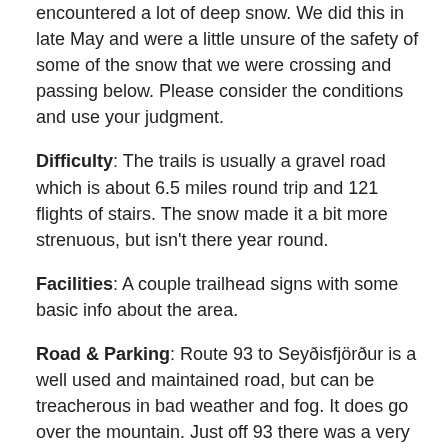encountered a lot of deep snow. We did this in late May and were a little unsure of the safety of some of the snow that we were crossing and passing below. Please consider the conditions and use your judgment.
Difficulty: The trails is usually a gravel road which is about 6.5 miles round trip and 121 flights of stairs. The snow made it a bit more strenuous, but isn't there year round.
Facilities: A couple trailhead signs with some basic info about the area.
Road & Parking: Route 93 to Seyðisfjörður is a well used and maintained road, but can be treacherous in bad weather and fog. It does go over the mountain. Just off 93 there was a very small parking area with only room for a couple vehicles. About 1 km in there was another area that most vehicles could probably make it to with parking for a few more vehicles. If you have a 4x4 and the snow has melted you could drive all the way up to the lookout and park there. Th